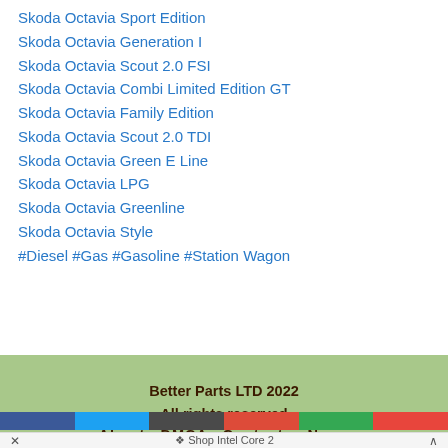Skoda Octavia Sport Edition
Skoda Octavia Generation I
[Figure (logo): Black gear/cog wheel icon with red starburst in center]
Skoda Octavia Scout 2.0 FSI
Skoda Octavia Combi Limited Edition GT
Skoda Octavia Family Edition
Skoda Octavia Scout 2.0 TDI
Skoda Octavia Green E Line
Skoda Octavia LPG
Skoda Octavia Greenline
Skoda Octavia Style
#Diesel #Gas #Gasoline #Station Wagon
Better Parts LTD 2022
All rights reserved
About   DMCA   Contacts   News